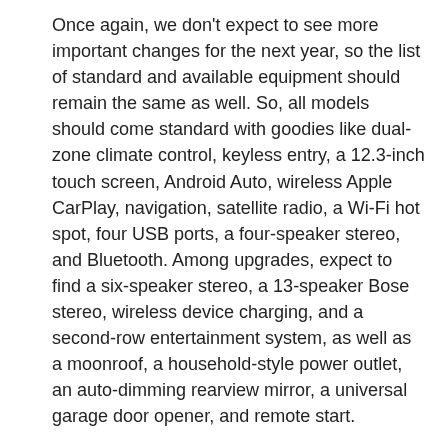Once again, we don't expect to see more important changes for the next year, so the list of standard and available equipment should remain the same as well. So, all models should come standard with goodies like dual-zone climate control, keyless entry, a 12.3-inch touch screen, Android Auto, wireless Apple CarPlay, navigation, satellite radio, a Wi-Fi hot spot, four USB ports, a four-speaker stereo, and Bluetooth. Among upgrades, expect to find a six-speaker stereo, a 13-speaker Bose stereo, wireless device charging, and a second-row entertainment system, as well as a moonroof, a household-style power outlet, an auto-dimming rearview mirror, a universal garage door opener, and remote start.
The same thing goes for safety features. So, base models should come standard with goodies like forward collision warning, pedestrian detection, automatic emergency braking, lane departure warning, lane keep assist, adaptive cruise control, blind-spot monitoring, rear cross-traffic alert, automatic high beams, parking sensors, rearview camera